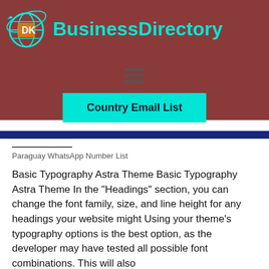[Figure (logo): DK Business Directory logo with globe icon in orange/cyan and site title in cyan text]
[Figure (other): Hamburger menu icon (three horizontal lines) on dark red background]
Country Email List
Paraguay WhatsApp Number List
Basic Typography Astra Theme Basic Typography Astra Theme In the “Headings” section, you can change the font family, size, and line height for any headings your website might Using your theme’s typography options is the best option, as the developer may have tested all possible font combinations. This will also